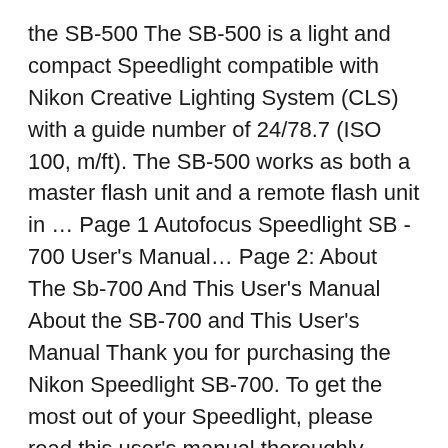the SB-500 The SB-500 is a light and compact Speedlight compatible with Nikon Creative Lighting System (CLS) with a guide number of 24/78.7 (ISO 100, m/ft). The SB-500 works as both a master flash unit and a remote flash unit in … Page 1 Autofocus Speedlight SB - 700 User's Manual… Page 2: About The Sb-700 And This User's Manual About the SB-700 and This User's Manual Thank you for purchasing the Nikon Speedlight SB-700. To get the most out of your Speedlight, please read this user's manual thoroughly before use.
Speedlight SB-700 Versatile, easy-to-use Speedlight, compatible with Nikon FX and DX format SLRs, and the Nikon Creative Lighting